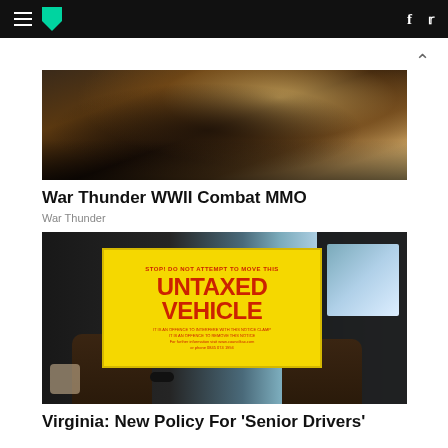HuffPost navigation bar with hamburger menu, logo, facebook and twitter icons
[Figure (photo): War Thunder WWII Combat MMO promotional image showing a dark battle scene with smoke and explosions]
War Thunder WWII Combat MMO
War Thunder
[Figure (photo): Person holding a yellow 'STOP! DO NOT ATTEMPT TO MOVE THIS UNTAXED VEHICLE' sign out of a car window]
Virginia: New Policy For 'Senior Drivers'